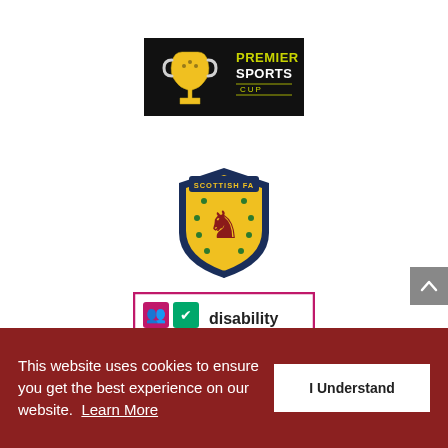[Figure (logo): Premier Sports Cup logo — black background with yellow trophy and yellow/white text reading PREMIER SPORTS CUP]
[Figure (logo): Scottish FA crest — shield shape with gold/yellow background, rampant lion in dark red, green shamrock stars, navy border, SCOTTISH FA text at top]
[Figure (logo): Disability Confident Committed badge — magenta border, four icon squares in top-left, text 'disability confident', 'COMMITTED' in magenta at bottom]
This website uses cookies to ensure you get the best experience on our website. Learn More
I Understand